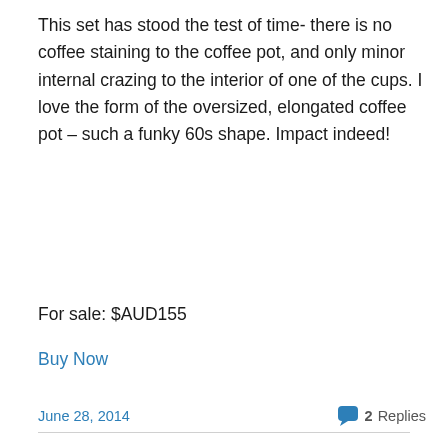This set has stood the test of time- there is no coffee staining to the coffee pot, and only minor internal crazing to the interior of one of the cups. I love the form of the oversized, elongated coffee pot – such a funky 60s shape. Impact indeed!
For sale: $AUD155
Buy Now
June 28, 2014
2 Replies
Retro coffee set
[Figure (photo): Partial view of a gold/brass retro coffee pot on a light background]